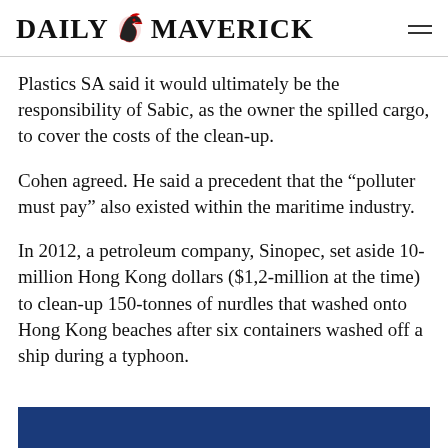DAILY MAVERICK
Plastics SA said it would ultimately be the responsibility of Sabic, as the owner the spilled cargo, to cover the costs of the clean-up.
Cohen agreed. He said a precedent that the “polluter must pay” also existed within the maritime industry.
In 2012, a petroleum company, Sinopec, set aside 10-million Hong Kong dollars ($1,2-million at the time) to clean-up 150-tonnes of nurdles that washed onto Hong Kong beaches after six containers washed off a ship during a typhoon.
[Figure (other): Advertisement banner: think entrepreneurial | Bidvest Bank on dark blue background]